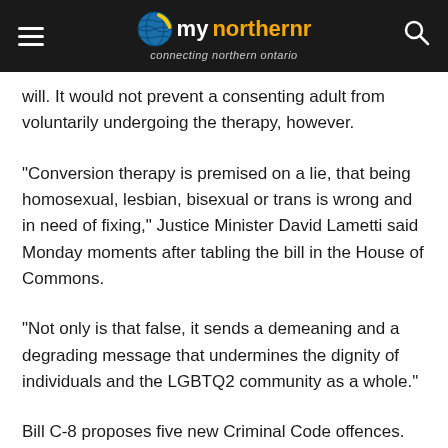my [logo] connecting northern ontario
will. It would not prevent a consenting adult from voluntarily undergoing the therapy, however.
“Conversion therapy is premised on a lie, that being homosexual, lesbian, bisexual or trans is wrong and in need of fixing,” Justice Minister David Lametti said Monday moments after tabling the bill in the House of Commons.
“Not only is that false, it sends a demeaning and a degrading message that undermines the dignity of individuals and the LGBTQ2 community as a whole.”
Bill C-8 proposes five new Criminal Code offences.
In addition to the ban on conversion therapy for minors in Canada, the legislation would outlaw removing a minor from